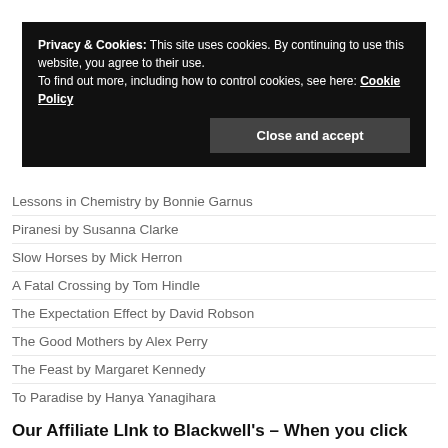[Figure (screenshot): Cookie consent banner overlay on a webpage. Black background with white text reading: 'Privacy & Cookies: This site uses cookies. By continuing to use this website, you agree to their use. To find out more, including how to control cookies, see here: Cookie Policy'. A dark grey 'Close and accept' button appears at bottom right of the banner.]
Lessons in Chemistry by Bonnie Garnus
Piranesi by Susanna Clarke
Slow Horses by Mick Herron
A Fatal Crossing by Tom Hindle
The Expectation Effect by David Robson
The Good Mothers by Alex Perry
The Feast by Margaret Kennedy
To Paradise by Hanya Yanagihara
Our Affiliate LInk to Blackwell's – When you click